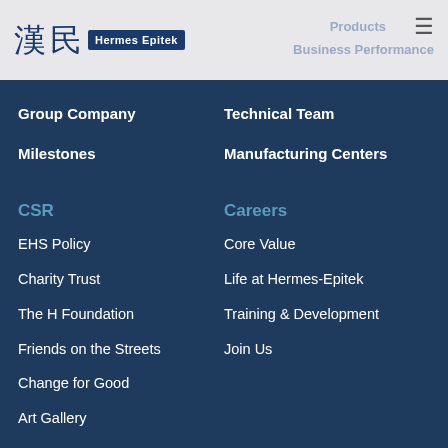[Figure (logo): Hermes-Epitek logo with Chinese characters and 'Hermes Epitek' text in blue box]
Group Company
Technical Team
Milestones
Manufacturing Centers
CSR
Careers
EHS Policy
Core Value
Charity Trust
Life at Hermes-Epitek
The H Foundation
Training & Development
Friends on the Streets
Join Us
Change for Good
Art Gallery